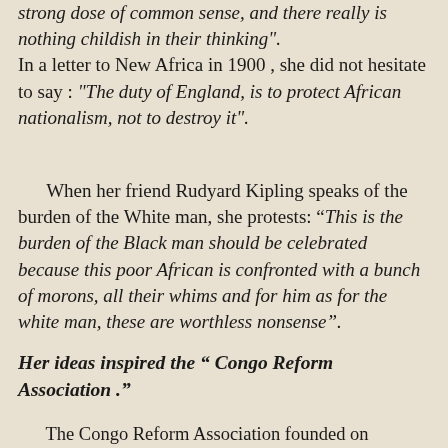strong dose of common sense, and there really is nothing childish in their thinking". In a letter to New Africa in 1900 , she did not hesitate to say : "The duty of England, is to protect African nationalism, not to destroy it".
When her friend Rudyard Kipling speaks of the burden of the White man, she protests: “This is the burden of the Black man should be celebrated because this poor African is confronted with a bunch of morons, all their whims and for him as for the white man, these are worthless nonsense”.
Her ideas inspired the " Congo Reform Association ."
The Congo Reform Association founded on